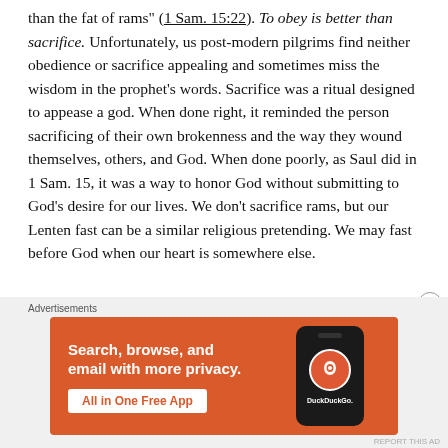than the fat of rams" (1 Sam. 15:22). To obey is better than sacrifice. Unfortunately, us post-modern pilgrims find neither obedience or sacrifice appealing and sometimes miss the wisdom in the prophet's words. Sacrifice was a ritual designed to appease a god. When done right, it reminded the person sacrificing of their own brokenness and the way they wound themselves, others, and God. When done poorly, as Saul did in 1 Sam. 15, it was a way to honor God without submitting to God's desire for our lives. We don't sacrifice rams, but our Lenten fast can be a similar religious pretending. We may fast before God when our heart is somewhere else.
Advertisements
[Figure (illustration): DuckDuckGo advertisement banner with orange background showing 'Search, browse, and email with more privacy. All in One Free App' text and a smartphone displaying the DuckDuckGo logo.]